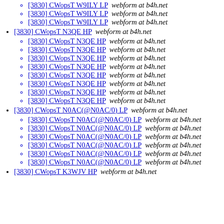[3830] CWopsT W9ILY LP  webform at b4h.net (sub-item)
[3830] CWopsT W9ILY LP  webform at b4h.net (sub-item)
[3830] CWopsT W9ILY LP  webform at b4h.net (sub-item)
[3830] CWopsT N3QE HP  webform at b4h.net (main)
[3830] CWopsT N3QE HP  webform at b4h.net (sub x8)
[3830] CWopsT N0AC(@N0AC/0) LP  webform at b4h.net (main)
[3830] CWopsT N0AC(@N0AC/0) LP  webform at b4h.net (sub x6)
[3830] CWopsT K3WJV HP  webform at b4h.net (partial)